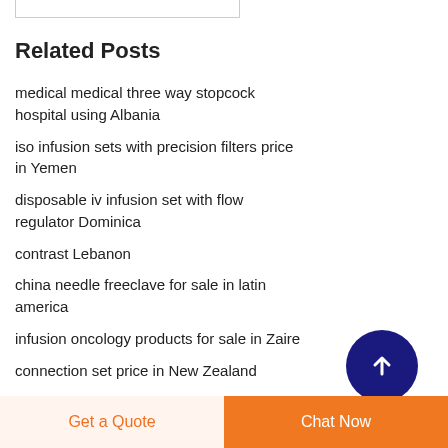Related Posts
medical medical three way stopcock hospital using Albania
iso infusion sets with precision filters price in Yemen
disposable iv infusion set with flow regulator Dominica
contrast Lebanon
china needle freeclave for sale in latin america
infusion oncology products for sale in Zaire
connection set price in New Zealand
Get a Quote   Chat Now